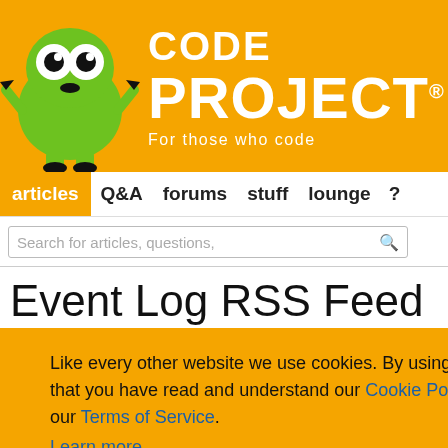[Figure (logo): CodeProject logo — orange banner with mascot robot character on left and CODE PROJECT text with tagline 'For those who code' on right]
articles  Q&A  forums  stuff  lounge  ?
Search for articles, questions,
Event Log RSS Feed
4.33/5 (35 votes)
Like every other website we use cookies. By using our site you acknowledge that you have read and understand our Cookie Policy, Privacy Policy, and our Terms of Service.
Learn more
Ask me later   Decline   Allow cookies
ized access to